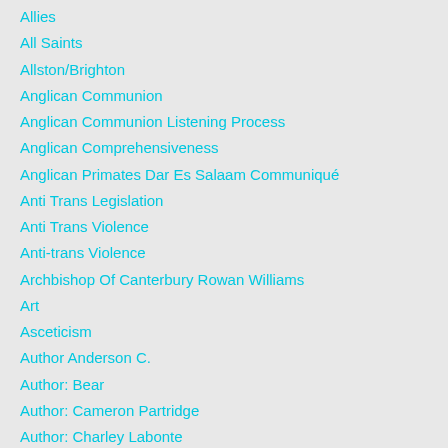Allies
All Saints
Allston/Brighton
Anglican Communion
Anglican Communion Listening Process
Anglican Comprehensiveness
Anglican Primates Dar Es Salaam Communiqué
Anti Trans Legislation
Anti Trans Violence
Anti-trans Violence
Archbishop Of Canterbury Rowan Williams
Art
Asceticism
Author Anderson C.
Author: Bear
Author: Cameron Partridge
Author: Charley Labonte
Author: Christina Beardsley
Author: Dante Tavolaro